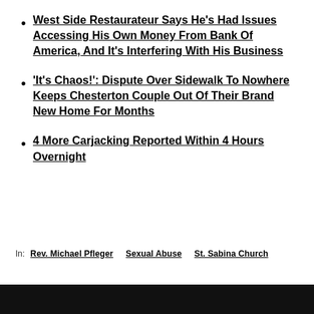West Side Restaurateur Says He's Had Issues Accessing His Own Money From Bank Of America, And It's Interfering With His Business
'It's Chaos!': Dispute Over Sidewalk To Nowhere Keeps Chesterton Couple Out Of Their Brand New Home For Months
4 More Carjacking Reported Within 4 Hours Overnight
In:  Rev. Michael Pfleger   Sexual Abuse   St. Sabina Church